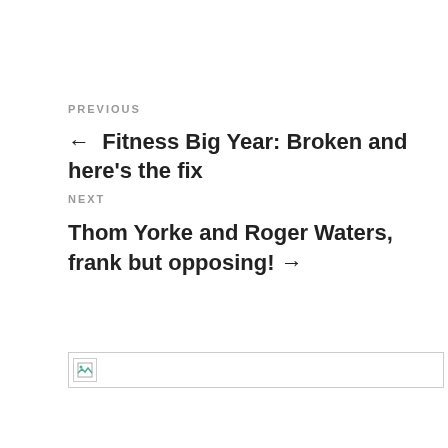PREVIOUS
← Fitness Big Year: Broken and here's the fix
NEXT
Thom Yorke and Roger Waters, frank but opposing! →
[Figure (other): Broken image placeholder with small icon and horizontal border]